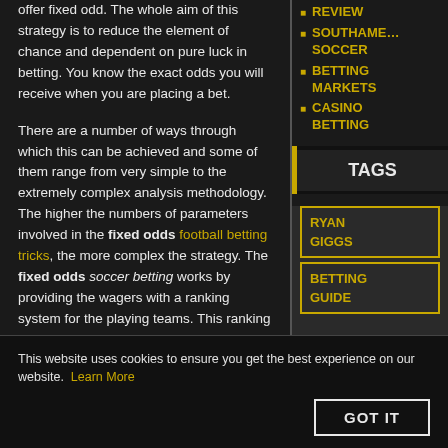offer fixed odd. The whole aim of this strategy is to reduce the element of chance and dependent on pure luck in betting. You know the exact odds you will receive when you are placing a bet.
There are a number of ways through which this can be achieved and some of them range from very simple to the extremely complex analysis methodology. The higher the numbers of parameters involved in the fixed odds football betting tricks, the more complex the strategy. The fixed odds soccer betting works by providing the wagers with a ranking system for the playing teams. This ranking then provides the wager with a figure which they can use to determine the odds of a certain team.
REVIEW
SOUTHAME… SOCCER
BETTING MARKETS
CASINO BETTING
TAGS
RYAN GIGGS
BETTING GUIDE
This website uses cookies to ensure you get the best experience on our website. Learn More
GOT IT